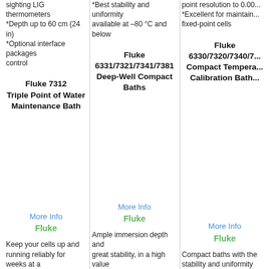*Depth up to 60 cm (24 in)
*Optional interface packages control
*Best stability and uniformity available at –80 °C and below
point resolution to 0.00...
*Excellent for maintaining fixed-point cells
Fluke 7312
Triple Point of Water
Maintenance Bath
Fluke 6331/7321/7341/7381
Deep-Well Compact Baths
Fluke 6330/7320/7340/7...
Compact Tempera...
Calibration Bath...
[Figure (photo): Fluke 7312 Triple Point of Water Maintenance Bath product image]
[Figure (photo): Fluke 6331/7321/7341/7381 Deep-Well Compact Baths product image]
[Figure (photo): Fluke 6330/7320/7340/7... Compact Temperature Calibration Baths product image]
More Info
Fluke
More Info
Fluke
More Info
Fluke
Keep your cells up and running reliably for weeks at a
Ample immersion depth and great stability, in a high value
Compact baths with the stability and uniformity